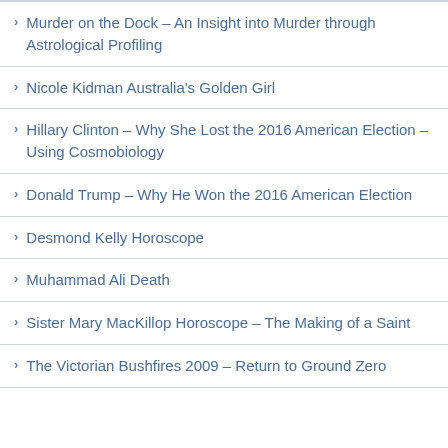Murder on the Dock – An Insight into Murder through Astrological Profiling
Nicole Kidman Australia's Golden Girl
Hillary Clinton – Why She Lost the 2016 American Election – Using Cosmobiology
Donald Trump – Why He Won the 2016 American Election
Desmond Kelly Horoscope
Muhammad Ali Death
Sister Mary MacKillop Horoscope – The Making of a Saint
The Victorian Bushfires 2009 – Return to Ground Zero